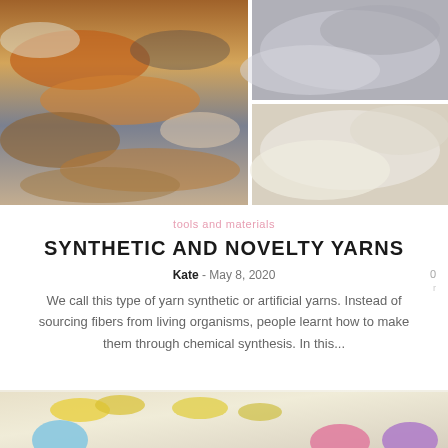[Figure (photo): Collage of two yarn texture photos: left side shows colorful multicolored yarn strands (orange, brown, white, blue), right side shows two photos of white/cream fluffy or crinkled yarn textures stacked vertically.]
tools and materials
SYNTHETIC AND NOVELTY YARNS
Kate  -  May 8, 2020    0
We call this type of yarn synthetic or artificial yarns. Instead of sourcing fibers from living organisms, people learnt how to make them through chemical synthesis. In this...
[Figure (photo): Colorful yarn balls arranged with yellow flower branches on white background, showing blue, pink, purple and other colored yarns.]